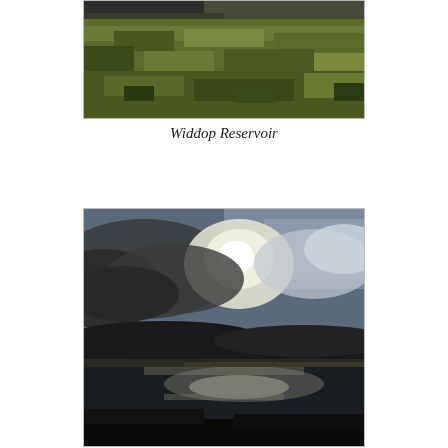[Figure (photo): Aerial/ground level landscape photo showing moorland with grassy hillside and a dark road or path visible at top, green-brown grass field in overcast light — top portion of image is cropped]
Widdop Reservoir
[Figure (photo): Dramatic landscape photo of Widdop Reservoir with dark moorland hills in the background, a large dramatic sky with thick clouds backlit by bright sun shining through, and the reservoir water reflecting the light in the lower foreground]